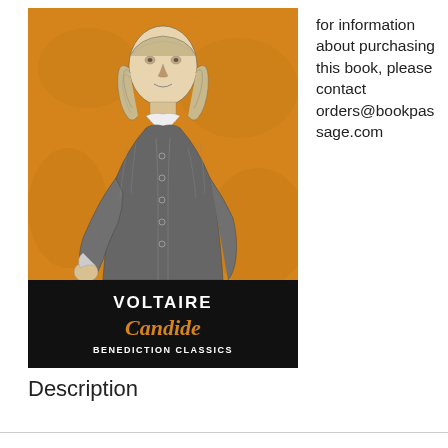[Figure (illustration): Book cover of 'Candide' by Voltaire, Benediction Classics edition. Orange background with engraving of an 18th-century gentleman (Voltaire). Black title bar at bottom with 'VOLTAIRE' in white, 'Candide' in orange italic, and 'BENEDICTION CLASSICS' in white small caps.]
for information about purchasing this book, please contact orders@bookpassage.com
Description